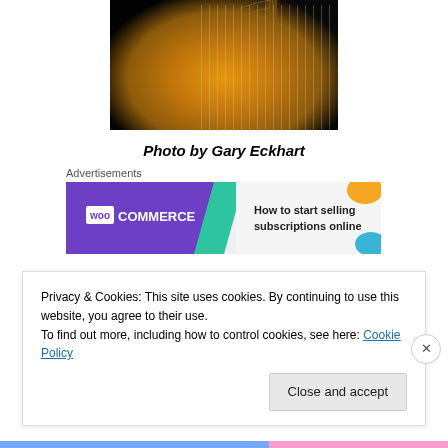[Figure (photo): Person playing an acoustic guitar, close-up of hands and guitar body on dark background]
Photo by Gary Eckhart
Advertisements
[Figure (other): WooCommerce advertisement banner - 'How to start selling subscriptions online']
Privacy & Cookies: This site uses cookies. By continuing to use this website, you agree to their use.
To find out more, including how to control cookies, see here: Cookie Policy
Close and accept